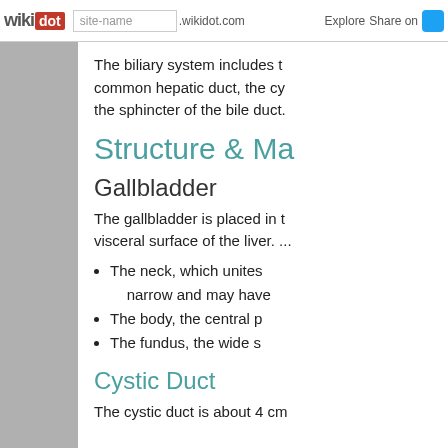wikidot | site-name .wikidot.com | Explore | Share on [Twitter]
The biliary system includes the common hepatic duct, the cy... the sphincter of the bile duct.
Structure & Ma...
Gallbladder
The gallbladder is placed in the visceral surface of the liver. ...
The neck, which unites... narrow and may have...
The body, the central p...
The fundus, the wide s...
Cystic Duct
The cystic duct is about 4 cm...